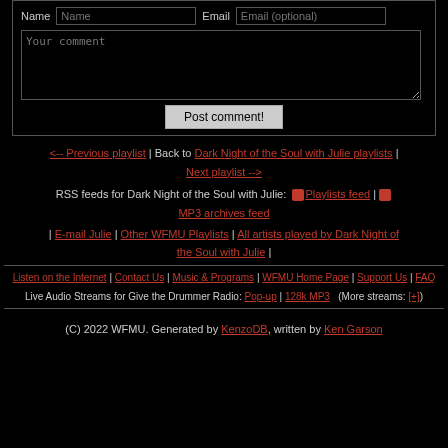[Figure (screenshot): Web comment form with Name, Email fields and Your comment textarea, plus Post comment! button]
<-- Previous playlist | Back to Dark Night of the Soul with Julie playlists | Next playlist -->
RSS feeds for Dark Night of the Soul with Julie: [RSS icon] Playlists feed | [RSS icon] MP3 archives feed
| E-mail Julie | Other WFMU Playlists | All artists played by Dark Night of the Soul with Julie |
Listen on the Internet | Contact Us | Music & Programs | WFMU Home Page | Support Us | FAQ
Live Audio Streams for Give the Drummer Radio: Pop-up | 128k MP3   (More streams: [+])
(C) 2022 WFMU. Generated by KenzoDB, written by Ken Garson